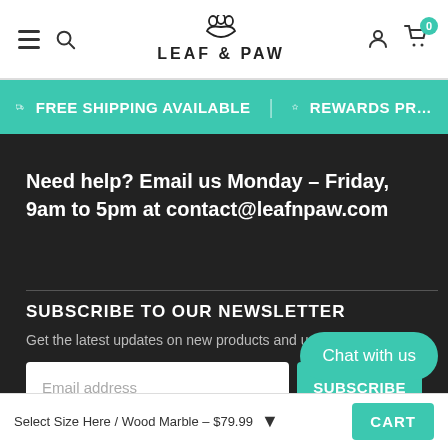LEAF & PAW — navigation header with hamburger menu, search, logo, account and cart icons
FREE SHIPPING AVAILABLE   REWARDS PR…
Need help? Email us Monday – Friday, 9am to 5pm at contact@leafnpaw.com
SUBSCRIBE TO OUR NEWSLETTER
Get the latest updates on new products and upcoming sales
Email address (input) SUBSCRIBE (button)
Chat with us
Select Size Here / Wood Marble – $79.99   CART